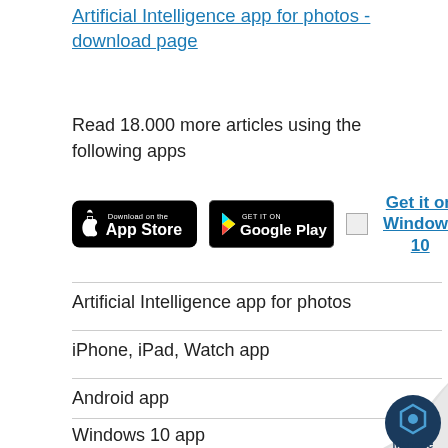Artificial Intelligence app for photos - download page
Read 18.000 more articles using the following apps
[Figure (other): App store badges: Download on the App Store, GET IT ON Google Play, and Get it on Windows 10 (with placeholder image)]
Artificial Intelligence app for photos
iPhone, iPad, Watch app
Android app
Windows 10 app
[Figure (logo): Manage logo badge - page curl with blue hexagon icon and 'Manage' text]